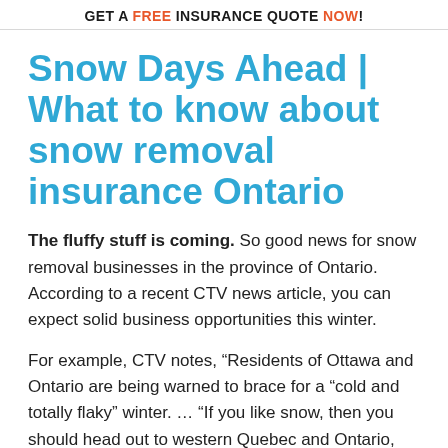GET A FREE INSURANCE QUOTE NOW!
Snow Days Ahead | What to know about snow removal insurance Ontario
The fluffy stuff is coming. So good news for snow removal businesses in the province of Ontario. According to a recent CTV news article, you can expect solid business opportunities this winter.
For example, CTV notes, “Residents of Ottawa and Ontario are being warned to brace for a “cold and totally flaky” winter. … “If you like snow, then you should head out to western Quebec and Ontario, where snowier-than-normal conditions are